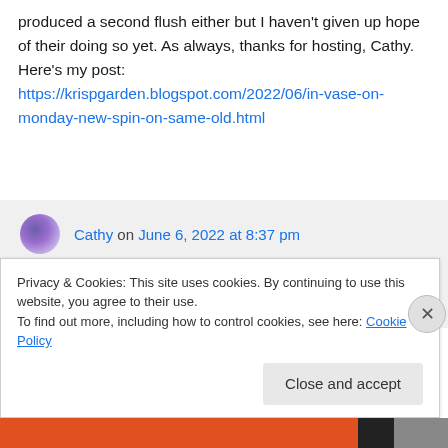produced a second flush either but I haven't given up hope of their doing so yet. As always, thanks for hosting, Cathy. Here's my post: https://krispgarden.blogspot.com/2022/06/in-vase-on-monday-new-spin-on-same-old.html
Cathy on June 6, 2022 at 8:37 pm
Yes, the Jubilee celebrations were very British, and certainly smething for the
Privacy & Cookies: This site uses cookies. By continuing to use this website, you agree to their use.
To find out more, including how to control cookies, see here: Cookie Policy
Close and accept